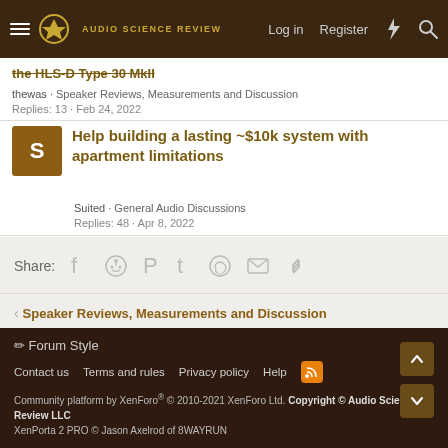Audio Science Review — Log in | Register
the HLS-D Type 30 MkII
thewas · Speaker Reviews, Measurements and Discussion
Replies: 13 · Feb 24, 2022
Help building a lasting ~$10k system with apartment limitations
Suited · General Audio Discussions
Replies: 48 · Apr 8, 2022
Share:
< Speaker Reviews, Measurements and Discussion
✏ Forum Style
Contact us   Terms and rules   Privacy policy   Help
Community platform by XenForo® © 2010-2021 XenForo Ltd. Copyright © Audio Science Review LLC
XenPorta 2 PRO © Jason Axelrod of 8WAYRUN